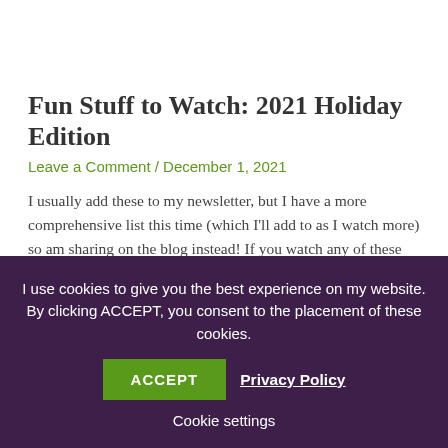Fun Stuff to Watch: 2021 Holiday Edition
Leave a Comment / December 1, 2021
I usually add these to my newsletter, but I have a more comprehensive list this time (which I'll add to as I watch more) so am sharing on the blog instead! If you watch any of these (or have watched them!) please comment below and let me know what you thought! I've linked trailers
I use cookies to give you the best experience on my website. By clicking ACCEPT, you consent to the placement of these cookies.
ACCEPT
Privacy Policy
Cookie settings